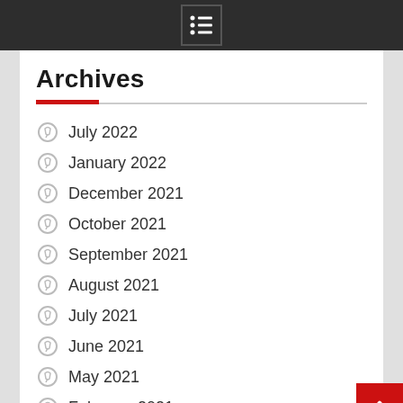Menu icon
Archives
July 2022
January 2022
December 2021
October 2021
September 2021
August 2021
July 2021
June 2021
May 2021
February 2021